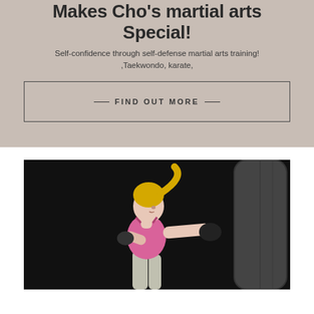Makes Cho's martial arts Special!
Self-confidence through self-defense martial arts training! ,Taekwondo, karate,
— FIND OUT MORE —
[Figure (photo): Blonde woman in pink sports bra punching a heavy bag with boxing gloves against a dark background]